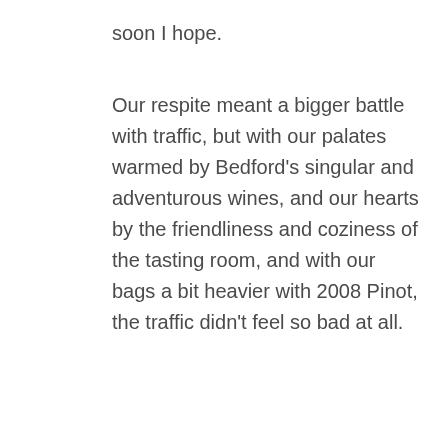soon I hope.
Our respite meant a bigger battle with traffic, but with our palates warmed by Bedford's singular and adventurous wines, and our hearts by the friendliness and coziness of the tasting room, and with our bags a bit heavier with 2008 Pinot, the traffic didn't feel so bad at all.